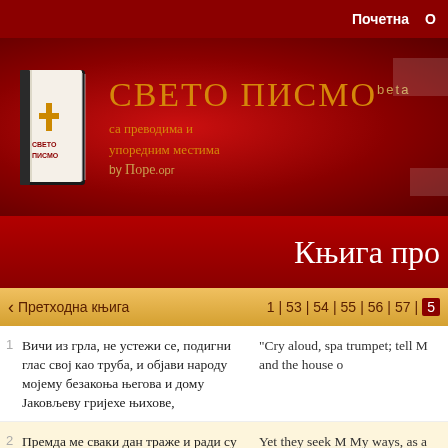Почетна
[Figure (logo): Sveto Pismo website logo with book icon, title 'Свето Писмо beta', subtitle 'са преводима и упоредним местима by Пореорг']
Књига про
‹ Претходна књига   1 | 53 | 54 | 55 | 56 | 57 | 58
1 Вичи из грла, не устежи се, подигни глас свој као труба, и објави народу мојему безакоња његова и дому Јаковљеву гријехе њихове,  "Cry aloud, spare not, lift up your voice like a trumpet; tell My people their transgression, and the house of
2 Премда ме сваки дан траже и ради су знати путове моје, као народ који твори правду и  Yet they seek M My ways, as a